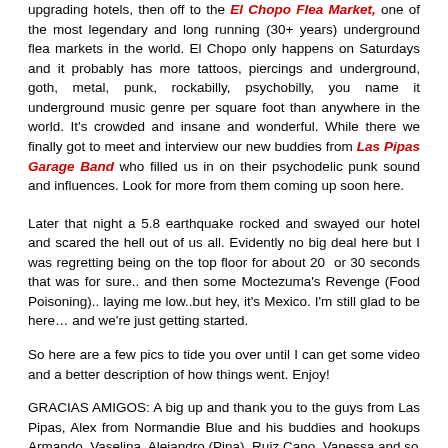upgrading hotels, then off to the El Chopo Flea Market, one of the most legendary and long running (30+ years) underground flea markets in the world. El Chopo only happens on Saturdays and it probably has more tattoos, piercings and underground, goth, metal, punk, rockabilly, psychobilly, you name it underground music genre per square foot than anywhere in the world. It's crowded and insane and wonderful. While there we finally got to meet and interview our new buddies from Las Pipas Garage Band who filled us in on their psychodelic punk sound and influences. Look for more from them coming up soon here.
Later that night a 5.8 earthquake rocked and swayed our hotel and scared the hell out of us all. Evidently no big deal here but I was regretting being on the top floor for about 20  or 30 seconds that was for sure.. and then some Moctezuma's Revenge (Food Poisoning).. laying me low..but hey, it's Mexico. I'm still glad to be here… and we're just getting started.
So here are a few pics to tide you over until I can get some video and a better description of how things went. Enjoy!
GRACIAS AMIGOS: A big up and thank you to the guys from Las Pipas, Alex from Normandie Blue and his buddies and hookups Armando, Vaselina, Alejandro (Pina), Ruiz Cano, Vanessa and so